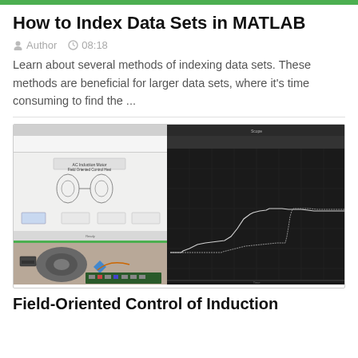How to Index Data Sets in MATLAB
Author  08:18
Learn about several methods of indexing data sets. These methods are beneficial for larger data sets, where it's time consuming to find the ...
[Figure (screenshot): Screenshot showing a MATLAB/Simulink environment for Field-Oriented Control of Induction Motor with FOC badge visible, alongside a dark oscilloscope-like plot window showing step response curves.]
Field-Oriented Control of Induction